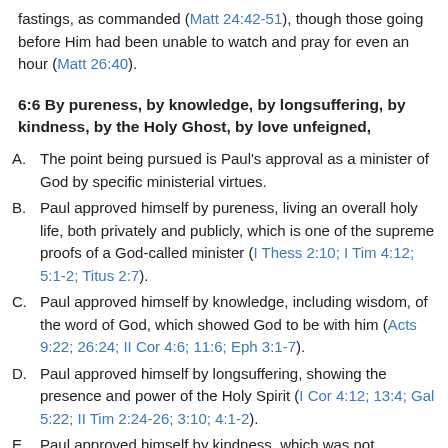fastings, as commanded (Matt 24:42-51), though those going before Him had been unable to watch and pray for even an hour (Matt 26:40).
6:6 By pureness, by knowledge, by longsuffering, by kindness, by the Holy Ghost, by love unfeigned,
A. The point being pursued is Paul's approval as a minister of God by specific ministerial virtues.
B. Paul approved himself by pureness, living an overall holy life, both privately and publicly, which is one of the supreme proofs of a God-called minister (I Thess 2:10; I Tim 4:12; 5:1-2; Titus 2:7).
C. Paul approved himself by knowledge, including wisdom, of the word of God, which showed God to be with him (Acts 9:22; 26:24; II Cor 4:6; 11:6; Eph 3:1-7).
D. Paul approved himself by longsuffering, showing the presence and power of the Holy Spirit (I Cor 4:12; 13:4; Gal 5:22; II Tim 2:24-26; 3:10; 4:1-2).
E. Paul approved himself by kindness, which was not necessarily true of the false apostles and teachers at Corinth, who showed